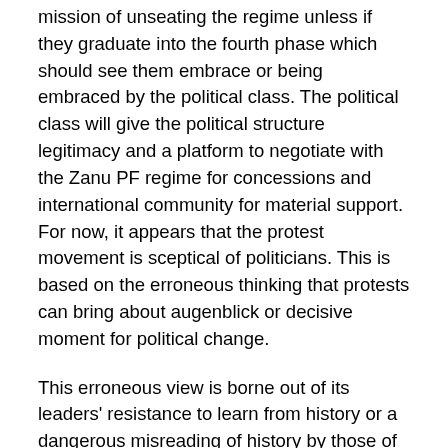mission of unseating the regime unless if they graduate into the fourth phase which should see them embrace or being embraced by the political class. The political class will give the political structure legitimacy and a platform to negotiate with the Zanu PF regime for concessions and international community for material support. For now, it appears that the protest movement is sceptical of politicians. This is based on the erroneous thinking that protests can bring about augenblick or decisive moment for political change.
This erroneous view is borne out of its leaders' resistance to learn from history or a dangerous misreading of history by those of its leaders who do not qualify as non-readers. A quick standard of reading of what are considered the most successful revolutions of all time: the French Revolution of 1789; Russian revolution of 1917; the revolution that toppled the Shah in Iran 1979; Cuba's 1959 revolution; and lately, closer to home and more relevant to Zimbabwe's situation, the revolutions that toppled Tunisia and Egypt's regimes were only successful because they managed to incorporate